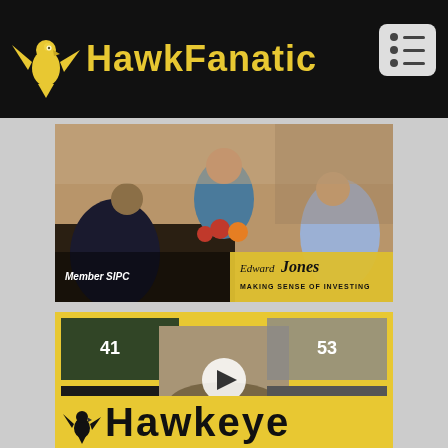HawkFanatic
[Figure (photo): Edward Jones advertisement banner showing people dining outdoors with flowers, text: Member SIPC, Edward Jones MAKING SENSE OF INVESTING]
[Figure (photo): Sports collage on gold/yellow background with football and basketball photos, center video thumbnail with play button, Hawkeye logo and text at bottom]